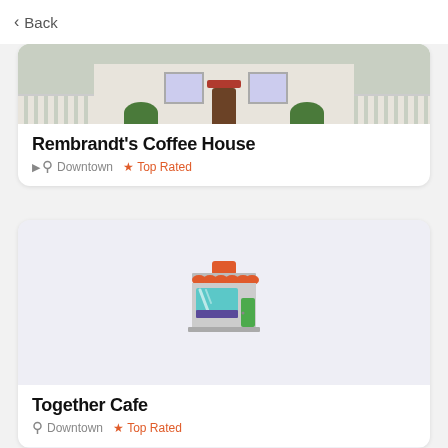< Back
[Figure (photo): Photo of a white house facade with brick steps and bushes — partially cropped]
Rembrandt's Coffee House
Downtown  ★ Top Rated
[Figure (illustration): Illustration of a storefront/shop building with red awning, teal window, and green door]
Together Cafe
Downtown  ★ Top Rated